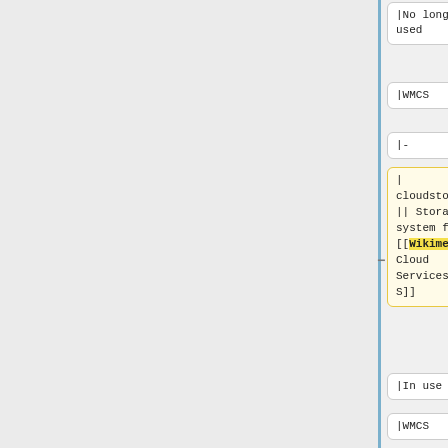[Figure (screenshot): Side-by-side diff view of wiki markup showing two columns of code cells. Left column (yellow highlight) and right column (blue highlight) compare changes to wiki table markup. Cells show: |No longer used, |WMCS, |-, | cloudstore || Storage system for [[Wikimedia Cloud Services|WMCS]] vs [[Help:Cloud Services introduction|WMCS]], |In use, |WMCS, |-, | cloudbackup cells at bottom.]